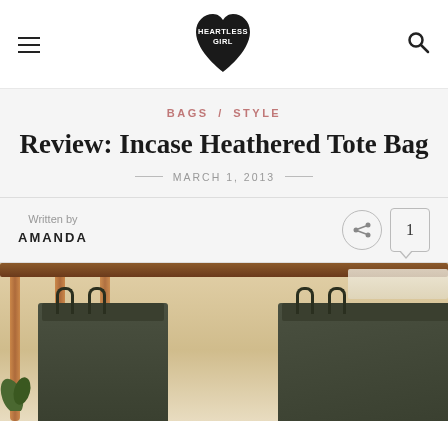HEARTLESS GIRL (logo with hamburger menu and search icon)
BAGS / STYLE
Review: Incase Heathered Tote Bag
MARCH 1, 2013
Written by
AMANDA
[Figure (photo): Dark olive/army green tote bag hanging on wooden banister with warm-toned interior background]